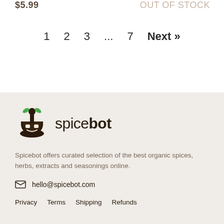$5.99  OUT OF STOCK
1  2  3  ...  7  Next »
[Figure (logo): Spicebot logo with mortar and pestle robot icon and green leaves, with the text 'spicebot']
Spicebot offers curated selection of the best organic spices, herbs, extracts and seasonings online.
hello@spicebot.com
Privacy  Terms  Shipping  Refunds